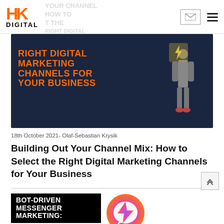HK DIGITAL
[Figure (illustration): Hero banner image with dark blue background showing bold orange text: RIGHT DIGITAL MARKETING CHANNELS FOR YOUR BUSINESS, with a standing figure silhouette on the right]
18th October 2021- Olaf-Sebastian Krysik
Building Out Your Channel Mix: How to Select the Right Digital Marketing Channels for Your Business
[Figure (illustration): Section image with black background showing white bold text BOT-DRIVEN MESSENGER MARKETING: alongside a colorful Messenger app icon circle (purple/pink gradient)]